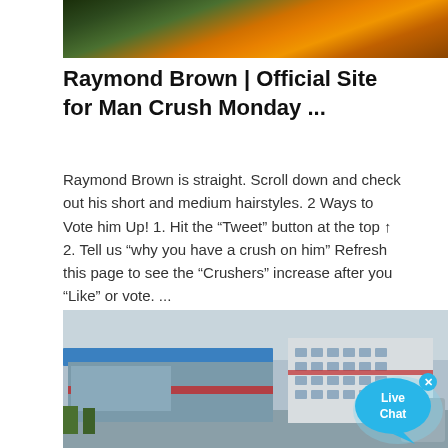[Figure (photo): Top portion of an orange heavy machinery/equipment, cropped]
Raymond Brown | Official Site for Man Crush Monday ...
Raymond Brown is straight. Scroll down and check out his short and medium hairstyles. 2 Ways to Vote him Up! 1. Hit the "Tweet" button at the top ↑ 2. Tell us "why you have a crush on him" Refresh this page to see the "Crushers" increase after you "Like" or vote. ...
[Figure (photo): Aerial view of industrial buildings with blue roofs and a white multi-story building, likely a Chinese factory or industrial complex]